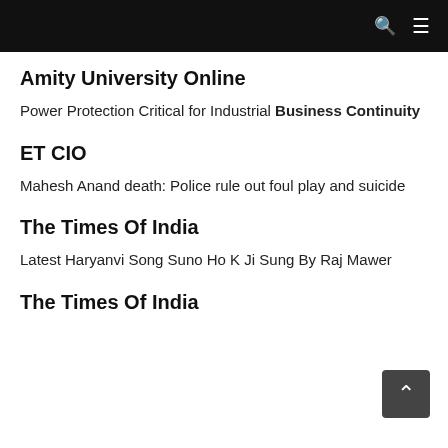Amity University Online
Power Protection Critical for Industrial Business Continuity
ET CIO
Mahesh Anand death: Police rule out foul play and suicide
The Times Of India
Latest Haryanvi Song Suno Ho K Ji Sung By Raj Mawer
The Times Of India